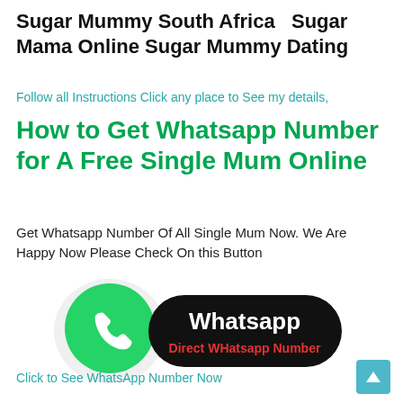Sugar Mummy South Africa  Sugar Mama Online Sugar Mummy Dating
Follow all Instructions Click any place to See my details,
How to Get Whatsapp Number for A Free Single Mum Online
Get Whatsapp Number Of All Single Mum Now. We Are Happy Now Please Check On this Button
[Figure (illustration): WhatsApp logo button: green circle with white phone handset icon on left, black rounded pill shape on right with white bold text 'Whatsapp' and red text 'Direct WHatsapp Number']
Click to See WhatsApp Number Now